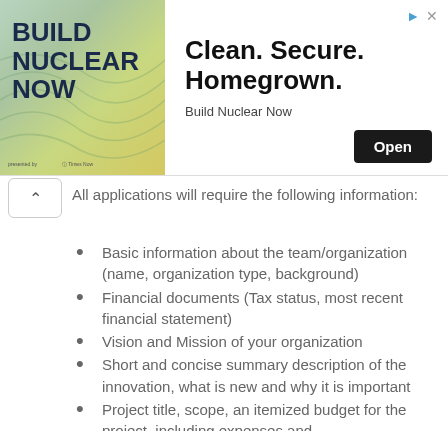[Figure (infographic): Advertisement banner for 'Build Nuclear Now' with a nature/topographic background image on the left and text 'Clean. Secure. Homegrown.' with an Open button on the right.]
All applications will require the following information:
Basic information about the team/organization (name, organization type, background)
Financial documents (Tax status, most recent financial statement)
Vision and Mission of your organization
Short and concise summary description of the innovation, what is new and why it is important
Project title, scope, an itemized budget for the project, including expenses and